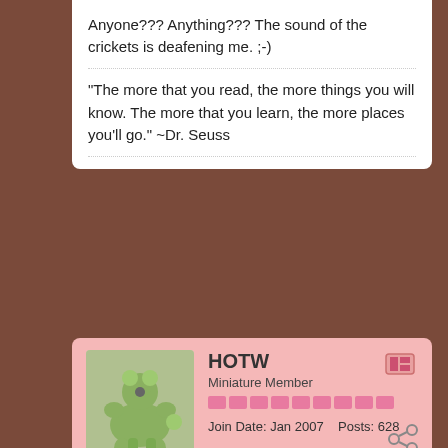Anyone??? Anything??? The sound of the crickets is deafening me. ;-)
"The more that you read, the more things you will know. The more that you learn, the more places you'll go." ~Dr. Seuss
HOTW
Miniature Member
Join Date: Jan 2007    Posts: 628
02-02-10, 09:51 PM
#3
http://toronto.kijiji.ca/c-pets-acce...AdIdZ183051165
found this -i have no clue what clark cages go for.
Cat Crazy
Standard Member & Club 1,000